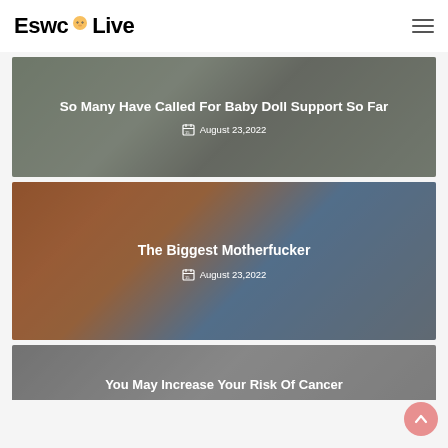EswcLive
[Figure (photo): Dark overlay card with indoor walking scene, title 'So Many Have Called For Baby Doll Support So Far', date August 23,2022]
So Many Have Called For Baby Doll Support So Far
August 23,2022
[Figure (photo): Dark overlay card with colorful knitted blanket and baby photo, title 'The Biggest Motherfucker', date August 23,2022]
The Biggest Motherfucker
August 23,2022
[Figure (photo): Partial card showing medical device, title 'You May Increase Your Risk Of Cancer']
You May Increase Your Risk Of Cancer